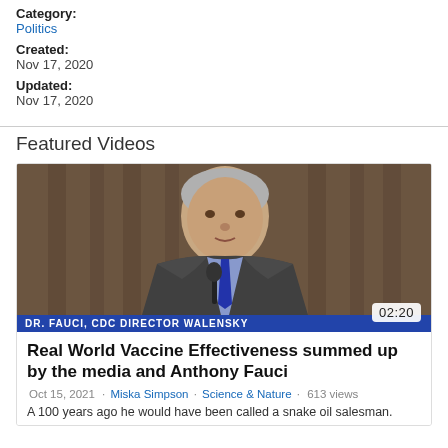Category:
Politics
Created:
Nov 17, 2020
Updated:
Nov 17, 2020
Featured Videos
[Figure (screenshot): Video thumbnail showing a man in a suit speaking at a hearing, with a blue lower-third graphic reading 'DR. FAUCI, CDC DIRECTOR WALENSKY'. Duration badge shows 02:20.]
Real World Vaccine Effectiveness summed up by the media and Anthony Fauci
Oct 15, 2021 · Miska Simpson · Science & Nature · 613 views
A 100 years ago he would have been called a snake oil salesman.